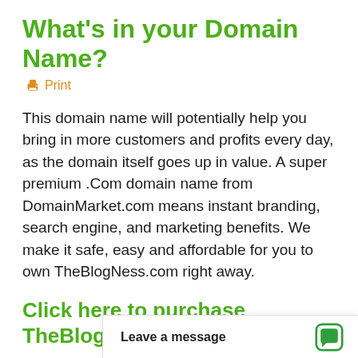What's in your Domain Name?
🖨 Print
This domain name will potentially help you bring in more customers and profits every day, as the domain itself goes up in value. A super premium .Com domain name from DomainMarket.com means instant branding, search engine, and marketing benefits. We make it safe, easy and affordable for you to own TheBlogNess.com right away.
Click here to purchase TheBlogNess.com
DomainMarket.com domains are carefully selected for branding excellence by the world's top domain name appraisers, so y…